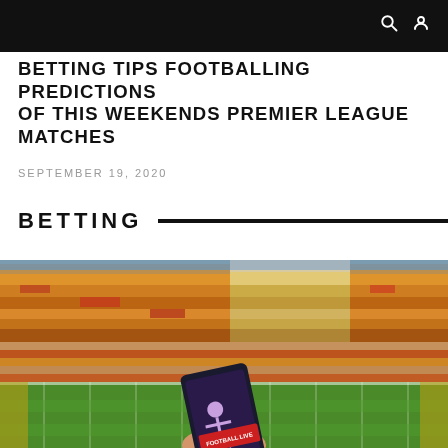BETTING TIPS FOOTBALLING PREDICTIONS OF THIS WEEKENDS PREMIER LEAGUE MATCHES
SEPTEMBER 19, 2020
BETTING
[Figure (photo): A football stadium filled with orange-and-white crowd in the stands, with a hand holding a smartphone showing a 'Football Live' app, viewed from field level looking toward the stands.]